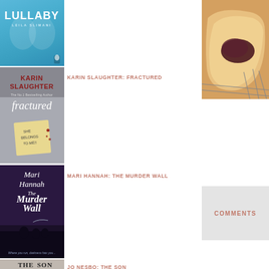[Figure (photo): Book cover: Lullaby by Leila Slimani, blue cover]
[Figure (photo): Book cover: Fractured by Karin Slaughter]
KARIN SLAUGHTER: FRACTURED
[Figure (photo): Book cover: The Murder Wall by Mari Hannah]
MARI HANNAH: THE MURDER WALL
[Figure (photo): Book cover: The Son by Jo Nesbo]
JO NESBO: THE SON
[Figure (photo): Food photo on right side, appears to be pastry or pie with sauce]
COMMENTS